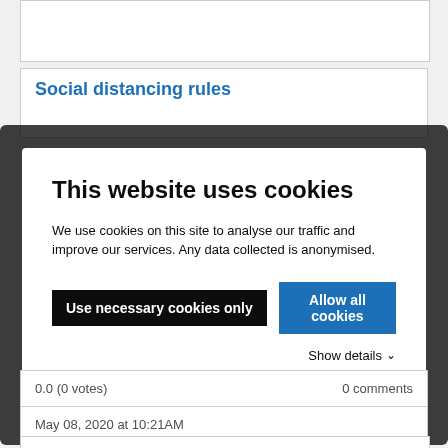Social distancing rules
This website uses cookies
We use cookies on this site to analyse our traffic and improve our services. Any data collected is anonymised.
Use necessary cookies only
Allow all cookies
Show details
0.0 (0 votes)
0 comments
May 08, 2020 at 10:21AM